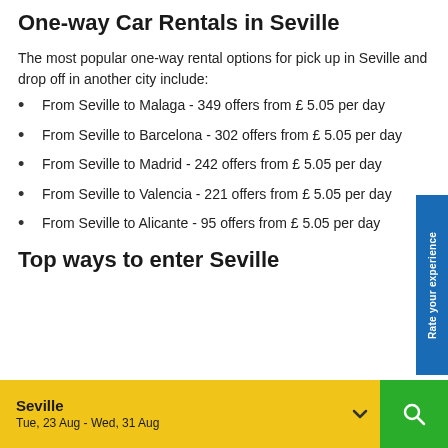One-way Car Rentals in Seville
The most popular one-way rental options for pick up in Seville and drop off in another city include:
From Seville to Malaga - 349 offers from £ 5.05 per day
From Seville to Barcelona - 302 offers from £ 5.05 per day
From Seville to Madrid - 242 offers from £ 5.05 per day
From Seville to Valencia - 221 offers from £ 5.05 per day
From Seville to Alicante - 95 offers from £ 5.05 per day
Top ways to enter Seville
Seville
Tue, 23 Aug - Wed, 31 Aug